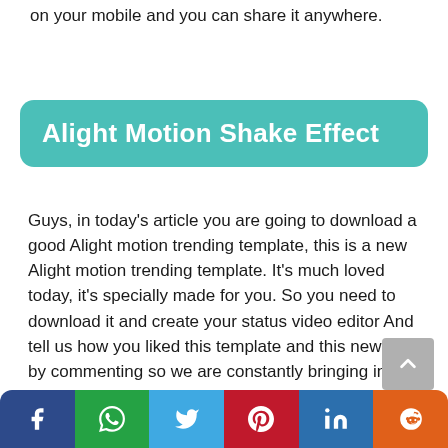on your mobile and you can share it anywhere.
Alight Motion Shake Effect
Guys, in today's article you are going to download a good Alight motion trending template, this is a new Alight motion trending template. It's much loved today, it's specially made for you. So you need to download it and create your status video editor And tell us how you liked this template and this new info, by commenting so we are constantly bringing in new templates and not just giving you information like this?
[Figure (infographic): Social media share buttons bar with icons for Facebook, WhatsApp, Twitter, Pinterest, LinkedIn, and Reddit]